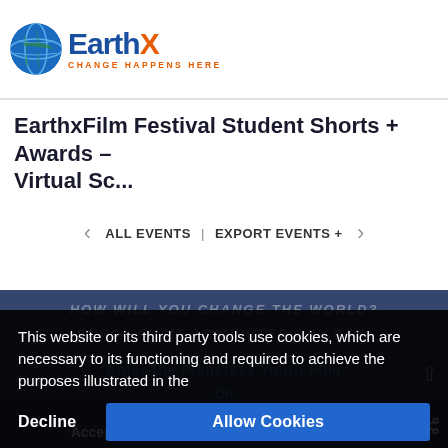EarthX — CHANGE HAPPENS HERE
EarthxFilm Festival Student Shorts + Awards – Virtual Sc...
< ALL EVENTS | EXPORT EVENTS + >
[Figure (photo): Dark blue background with promotional text about Planet911 Youth Film Challenge, partially obscured by cookie banner]
This website or its third party tools use cookies, which are necessary to its functioning and required to achieve the purposes illustrated in the
Decline
Allow Cookies
Accepting Submissions
English